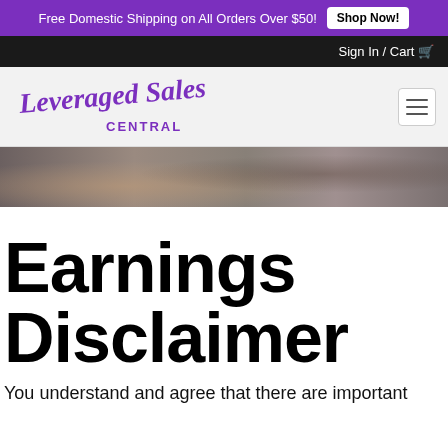Free Domestic Shipping on All Orders Over $50! Shop Now!
Sign In / Cart 🛒
[Figure (logo): Leveraged Sales Central logo in purple script font with 'CENTRAL' in block letters]
[Figure (photo): Blurred photo of hands in a business meeting or handshake setting]
Earnings Disclaimer
You understand and agree that there are important